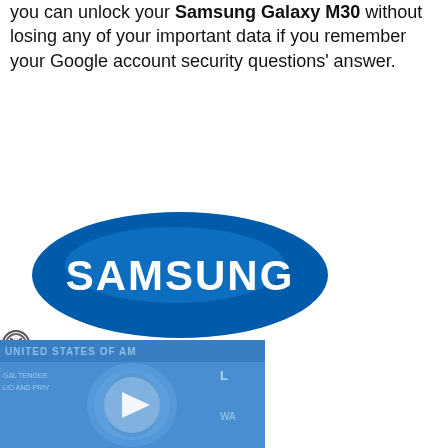you can unlock your Samsung Galaxy M30 without losing any of your important data if you remember your Google account security questions' answer.
[Figure (logo): Samsung blue oval logo with white SAMSUNG text]
[Figure (screenshot): Video thumbnail showing a US dollar bill with blue tint and a play button in the center. Text 'UNITED STATES OF AM' visible at top, 'GAL TENDER' and 'LIC AND PRIV' on left side.]